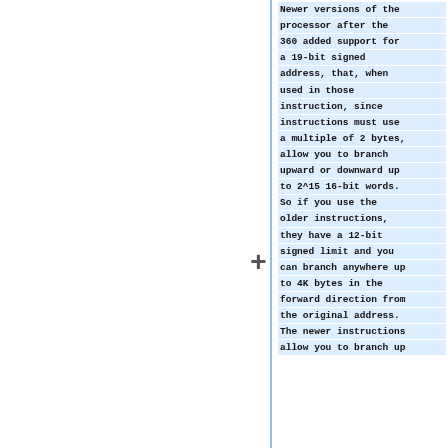Newer versions of the processor after the 360 added support for a 19-bit signed address, that, when used in those instruction, since instructions must use a multiple of 2 bytes, allow you to branch upward or downward up to 2^15 16-bit words. So if you use the older instructions, they have a 12-bit signed limit and you can branch anywhere up to 4K bytes in the forward direction from the original address. The newer instructions allow you to branch up